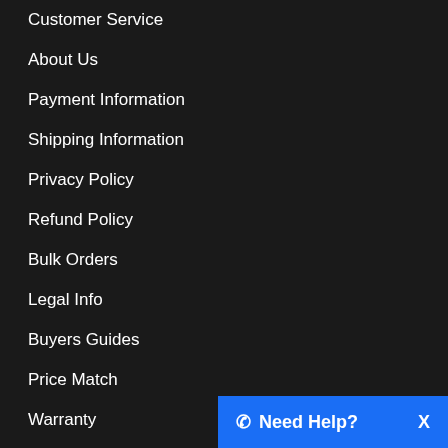Customer Service
About Us
Payment Information
Shipping Information
Privacy Policy
Refund Policy
Bulk Orders
Legal Info
Buyers Guides
Price Match
Warranty
Stay connected
Sign up for our monthly newsletter for special deals and offers.
Need Help?  X